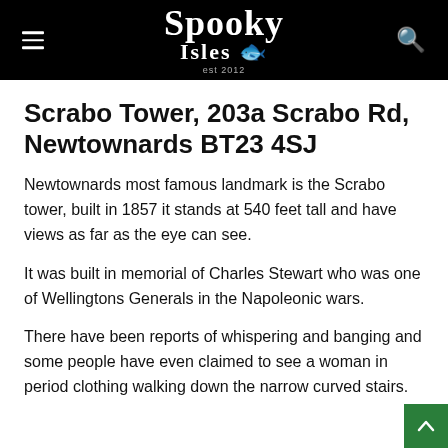Spooky Isles
Scrabo Tower, 203a Scrabo Rd, Newtownards BT23 4SJ
Newtownards most famous landmark is the Scrabo tower, built in 1857 it stands at 540 feet tall and have views as far as the eye can see.
It was built in memorial of Charles Stewart who was one of Wellingtons Generals in the Napoleonic wars.
There have been reports of whispering and banging and some people have even claimed to see a woman in period clothing walking down the narrow curved stairs.